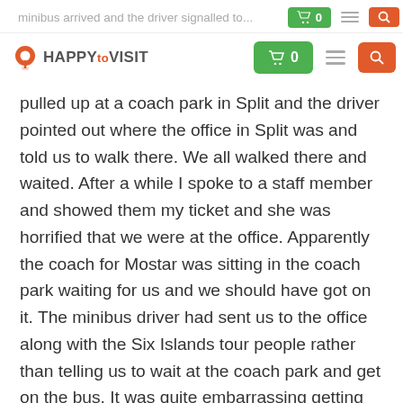HAPPYtoVISIT — navigation bar with logo, cart (0), menu, and search buttons. Partially visible text above: 'minibus arrived and the driver signalled (and 3 other families) to get'
pulled up at a coach park in Split and the driver pointed out where the office in Split was and told us to walk there. We all walked there and waited. After a while I spoke to a staff member and showed them my ticket and she was horrified that we were at the office. Apparently the coach for Mostar was sitting in the coach park waiting for us and we should have got on it. The minibus driver had sent us to the office along with the Six Islands tour people rather than telling us to wait at the coach park and get on the bus. It was quite embarrassing getting on the coach as we had kept everyone else waiting and they assumed it was our fault for being late. There also didn't seem to be a plan for getting us back to Trogir at the end of